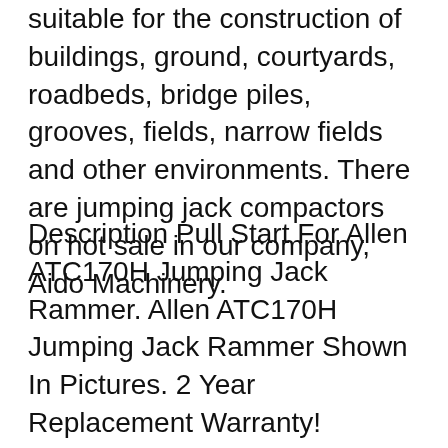suitable for the construction of buildings, ground, courtyards, roadbeds, bridge piles, grooves, fields, narrow fields and other environments. There are jumping jack compactors on hot sale in our company, Aido Machinery.
Description Pull Start For Allen ATC170H Jumping Jack Rammer. Allen ATC170H Jumping Jack Rammer Shown In Pictures. 2 Year Replacement Warranty! Replace your carburetor if your machine starts up on choke then dies, if it starts with starting fluid then dies or if it needs choke on to run. Multiquip's Mikasa MTX70HD is our most popular selling rammer вЂ" new and improved! This middle-weight compactor is ideal